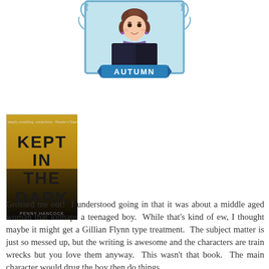[Figure (illustration): Cartoon avatar of a young woman with brown hair reading a book, with decorative blue scrollwork frame and a blue ribbon banner reading AUTUMN]
[Figure (illustration): Book cover for 'Kept in the Dark' by Penny Hancock, dark yellow/black cover with large bold text]
Grossed me out!  I understood going in that it was about a middle aged woman that kidnaps a teenaged boy.  While that's kind of ew, I thought maybe it might get a Gillian Flynn type treatment.  The subject matter is just so messed up, but the writing is awesome and the characters are train wrecks but you love them anyway.  This wasn't that book.  The main character would drug the boy then do things